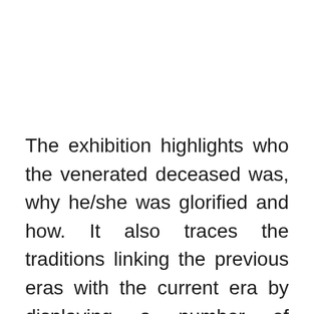The exhibition highlights who the venerated deceased was, why he/she was glorified and how. It also traces the traditions linking the previous eras with the current era by displaying a number of artifacts.